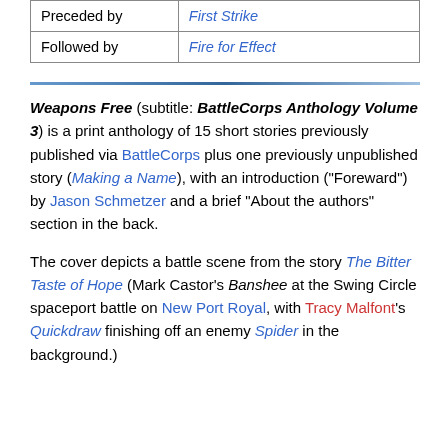|  |  |
| --- | --- |
| Preceded by | First Strike |
| Followed by | Fire for Effect |
Weapons Free (subtitle: BattleCorps Anthology Volume 3) is a print anthology of 15 short stories previously published via BattleCorps plus one previously unpublished story (Making a Name), with an introduction ("Foreward") by Jason Schmetzer and a brief "About the authors" section in the back.
The cover depicts a battle scene from the story The Bitter Taste of Hope (Mark Castor's Banshee at the Swing Circle spaceport battle on New Port Royal, with Tracy Malfont's Quickdraw finishing off an enemy Spider in the background.)